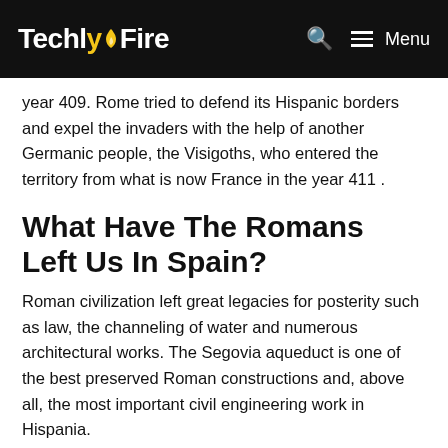TechlyFire
year 409. Rome tried to defend its Hispanic borders and expel the invaders with the help of another Germanic people, the Visigoths, who entered the territory from what is now France in the year 411 .
What Have The Romans Left Us In Spain?
Roman civilization left great legacies for posterity such as law, the channeling of water and numerous architectural works. The Segovia aqueduct is one of the best preserved Roman constructions and, above all, the most important civil engineering work in Hispania.